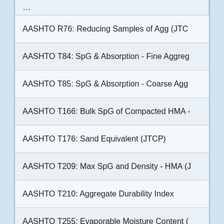| Test Method |
| --- |
| AASHTO R76: Reducing Samples of Agg (JTC |
| AASHTO T84: SpG & Absorption - Fine Aggreg |
| AASHTO T85: SpG & Absorption - Coarse Agg |
| AASHTO T166: Bulk SpG of Compacted HMA - |
| AASHTO T176: Sand Equivalent (JTCP) |
| AASHTO T209: Max SpG and Density - HMA (J |
| AASHTO T210: Aggregate Durability Index |
| AASHTO T255: Evaporable Moisture Content ( |
| AASHTO T269: Percent Air Voids - HMA (JTCP |
| AASHTO T275: Bulk SpG - HMA (JTCP) |
| AASHTO T283: Moisture Induced Damage (TS |